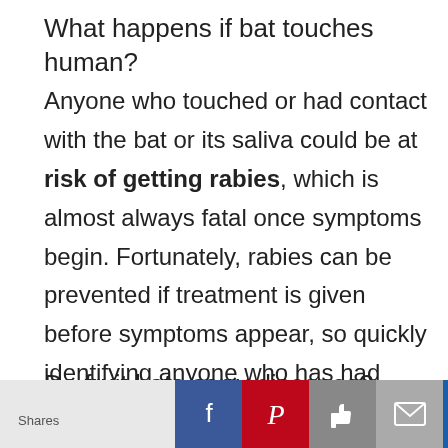What happens if bat touches human?
Anyone who touched or had contact with the bat or its saliva could be at risk of getting rabies, which is almost always fatal once symptoms begin. Fortunately, rabies can be prevented if treatment is given before symptoms appear, so quickly identifying anyone who has had contact is important.
Do fruit bats carry diseases?
The BABA Ba...
Shares [Facebook] [Pinterest] [Like] [Email] [Crown]